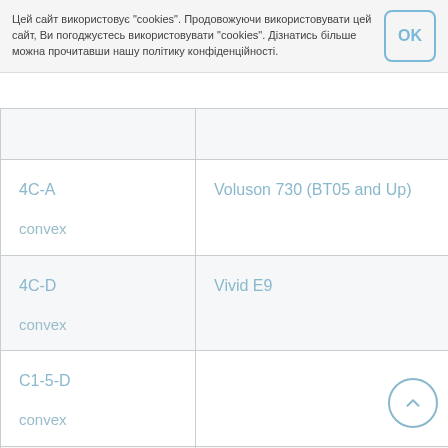Цей сайт використовує "cookies". Продовожуючи використовувати цей сайт, Ви погоджуєтесь використовувати "cookies". Дізнатись більше можна прочитавши нашу політику конфіденційності.
|  |  |
| --- | --- |
| 4C-A

convex | Voluson 730 (BT05 and Up) |
| 4C-D

convex | Vivid E9 |
| C1-5-D

convex |  |
| C1-6-D

convex |  |